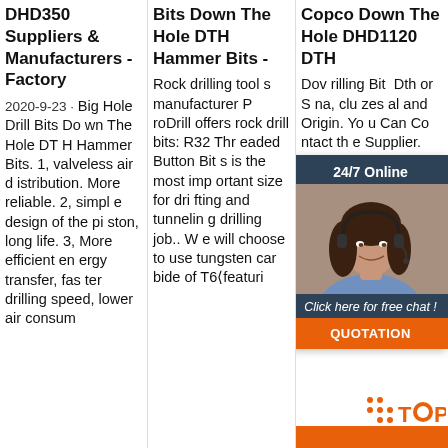DHD350 Suppliers & Manufacturers - Factory
2020-9-23 · Big Hole Drill Bits Down The Hole DTH Hammer Bits. 1, valveless air distribution. More reliable. 2, simple design of the piston, long life. 3, More efficient energy transfer, faster drilling speed, lower air consum
Bits Down The Hole DTH Hammer Bits -
Rock drilling tools manufacturer ProDrill offers rock drill bits: R32 Threaded Button Bits is the most important size for drifting and tunneling drilling job.. W e will choose to use tungsten car bide of T6 featuri
Copco Down The Hole DHD1120 DTH
Down The Hole Drilling Bits Dth Hammer or Sandvik, na, including sizes al and Origin. You Can Contact the Supplier.
[Figure (photo): Customer service representative woman with headset, chat widget overlay with '24/7 Online' header, photo, 'Click here for free chat!' text, orange QUOTATION button]
[Figure (infographic): Orange TOP navigation icon with orange dots pattern at bottom right]